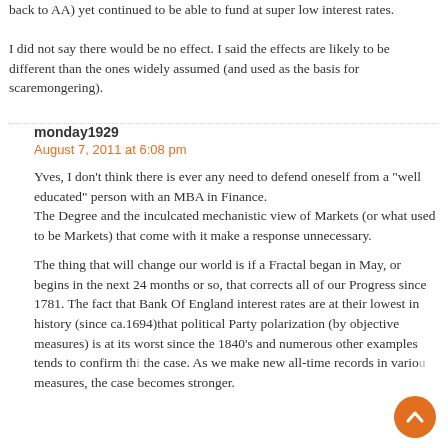back to AA) yet continued to be able to fund at super low interest rates.
I did not say there would be no effect. I said the effects are likely to be different than the ones widely assumed (and used as the basis for scaremongering).
monday1929
August 7, 2011 at 6:08 pm
Yves, I don't think there is ever any need to defend oneself from a "well educated" person with an MBA in Finance.
The Degree and the inculcated mechanistic view of Markets (or what used to be Markets) that come with it make a response unnecessary.
The thing that will change our world is if a Fractal began in May, or begins in the next 24 months or so, that corrects all of our Progress since 1781. The fact that Bank Of England interest rates are at their lowest in history (since ca.1694)that political Party polarization (by objective measures) is at its worst since the 1840's and numerous other examples tends to confirm this the case. As we make new all-time records in various measures, the case becomes stronger.